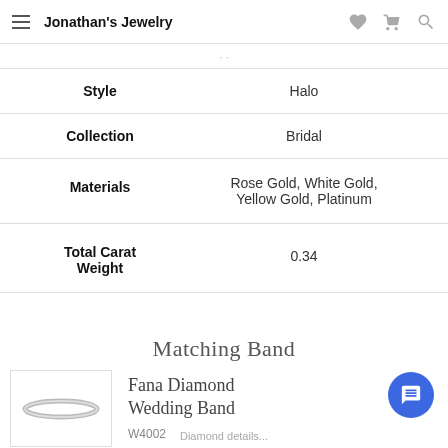Jonathan's Jewelry
| Attribute | Value |
| --- | --- |
| Style | Halo |
| Collection | Bridal |
| Materials | Rose Gold, White Gold, Yellow Gold, Platinum |
| Total Carat Weight | 0.34 |
Matching Band
Fana Diamond Wedding Band
W4002